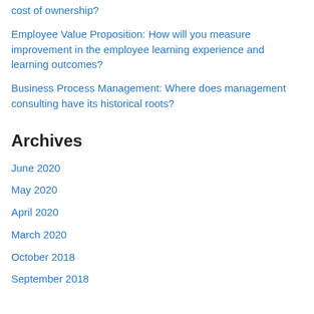cost of ownership?
Employee Value Proposition: How will you measure improvement in the employee learning experience and learning outcomes?
Business Process Management: Where does management consulting have its historical roots?
Archives
June 2020
May 2020
April 2020
March 2020
October 2018
September 2018